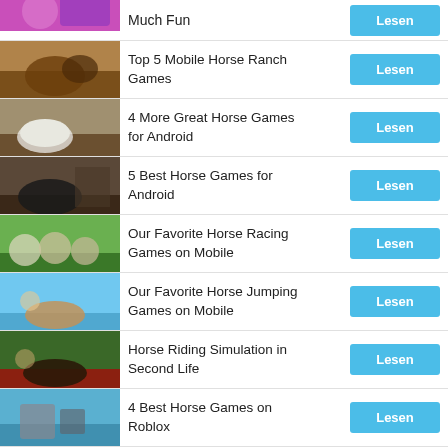Much Fun
Top 5 Mobile Horse Ranch Games
4 More Great Horse Games for Android
5 Best Horse Games for Android
Our Favorite Horse Racing Games on Mobile
Our Favorite Horse Jumping Games on Mobile
Horse Riding Simulation in Second Life
4 Best Horse Games on Roblox